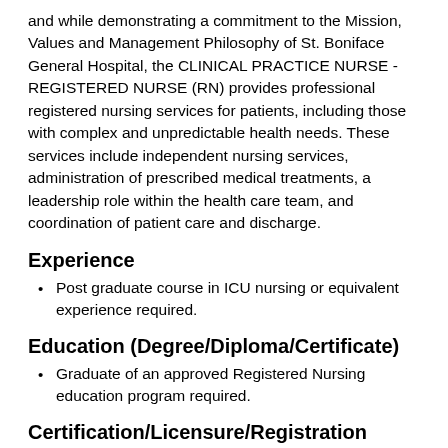and while demonstrating a commitment to the Mission, Values and Management Philosophy of St. Boniface General Hospital, the CLINICAL PRACTICE NURSE - REGISTERED NURSE (RN) provides professional registered nursing services for patients, including those with complex and unpredictable health needs. These services include independent nursing services, administration of prescribed medical treatments, a leadership role within the health care team, and coordination of patient care and discharge.
Experience
Post graduate course in ICU nursing or equivalent experience required.
Education (Degree/Diploma/Certificate)
Graduate of an approved Registered Nursing education program required.
Certification/Licensure/Registration
Current CRNM registration required.
Active participation in professional associations e.g. Association of Regulated Nurses of Manitoba (ARNM)